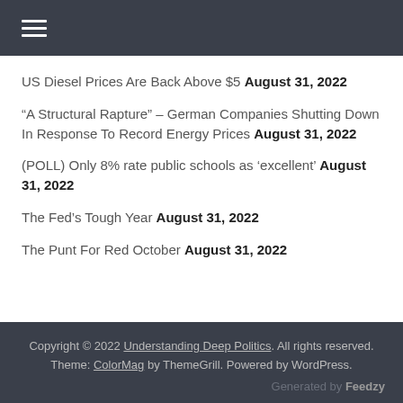☰
US Diesel Prices Are Back Above $5 August 31, 2022
“A Structural Rapture” – German Companies Shutting Down In Response To Record Energy Prices August 31, 2022
(POLL) Only 8% rate public schools as ‘excellent’ August 31, 2022
The Fed’s Tough Year August 31, 2022
The Punt For Red October August 31, 2022
Copyright © 2022 Understanding Deep Politics. All rights reserved.
Theme: ColorMag by ThemeGrill. Powered by WordPress.
Generated by Feedzy